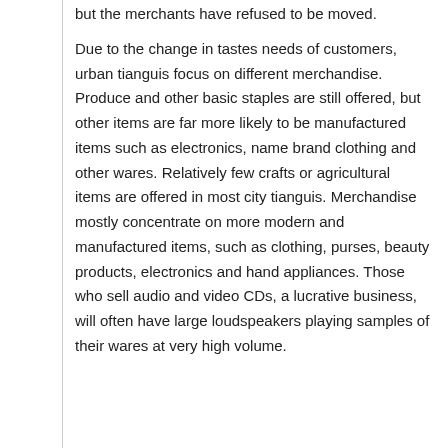but the merchants have refused to be moved.
Due to the change in tastes needs of customers, urban tianguis focus on different merchandise. Produce and other basic staples are still offered, but other items are far more likely to be manufactured items such as electronics, name brand clothing and other wares. Relatively few crafts or agricultural items are offered in most city tianguis. Merchandise mostly concentrate on more modern and manufactured items, such as clothing, purses, beauty products, electronics and hand appliances. Those who sell audio and video CDs, a lucrative business, will often have large loudspeakers playing samples of their wares at very high volume.